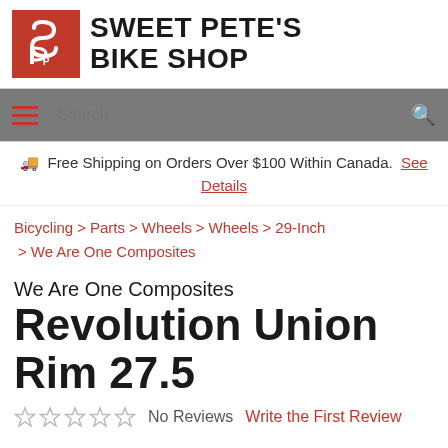[Figure (logo): Sweet Pete's Bike Shop logo with red square icon containing a stylized 'SP' graphic and bold black text reading SWEET PETE'S BIKE SHOP]
Search navigation bar with hamburger menu and search field
🚚 Free Shipping on Orders Over $100 Within Canada. See Details
Bicycling > Parts > Wheels > Wheels > 29-Inch > We Are One Composites
We Are One Composites Revolution Union Rim 27.5
No Reviews  Write the First Review